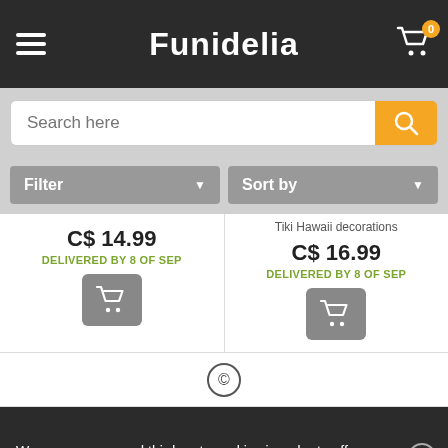Funidelia
Search here
Filter
Sort by
Tiki Hawaii decorations
C$ 14.99
DELIVERED BY 8 OF SEP
C$ 16.99
DELIVERED BY 8 OF SEP
We use our own and third party cookies in order to offer you a better service. You accept that by staying at our site. More info